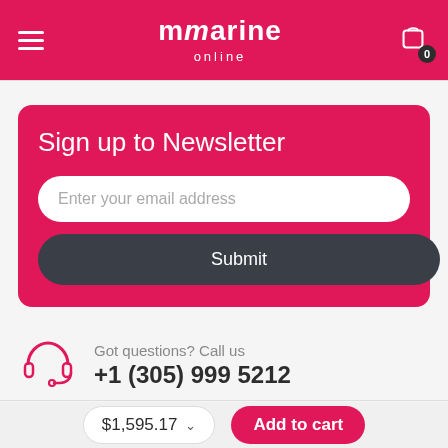mmarine online
Sign up to Newsletter
Enter your email address
Submit
Got questions? Call us +1 (305) 999 5212
$1,595.17
Add to cart